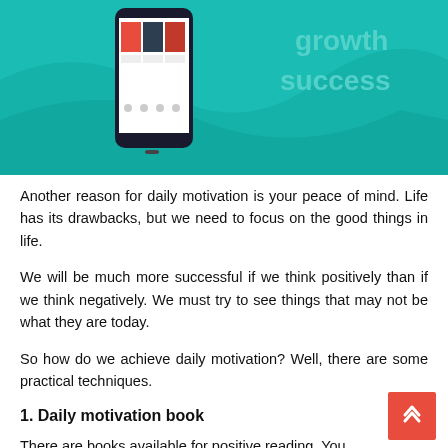[Figure (illustration): Teal/green banner with a smartphone displaying book covers on the left and the words 'growth' and 'success' in lighter teal text on the right, with wave design elements.]
Another reason for daily motivation is your peace of mind. Life has its drawbacks, but we need to focus on the good things in life.
We will be much more successful if we think positively than if we think negatively. We must try to see things that may not be what they are today.
So how do we achieve daily motivation? Well, there are some practical techniques.
1. Daily motivation book
There are books available for positive reading. You begin your day by reading while you are in the...